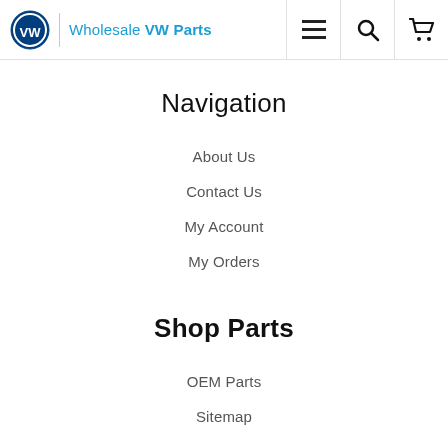Wholesale VW Parts
Navigation
About Us
Contact Us
My Account
My Orders
Shop Parts
OEM Parts
Sitemap